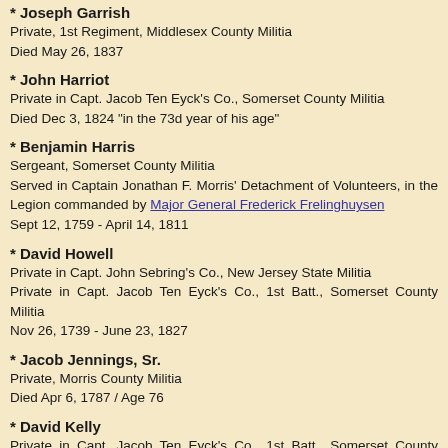* Joseph Garrish
Private, 1st Regiment, Middlesex County Militia
Died May 26, 1837
* John Harriot
Private in Capt. Jacob Ten Eyck's Co., Somerset County Militia
Died Dec 3, 1824 "in the 73d year of his age"
* Benjamin Harris
Sergeant, Somerset County Militia
Served in Captain Jonathan F. Morris' Detachment of Volunteers, in the Legion commanded by Major General Frederick Frelinghuysen
Sept 12, 1759 - April 14, 1811
* David Howell
Private in Capt. John Sebring's Co., New Jersey State Militia
Private in Capt. Jacob Ten Eyck's Co., 1st Batt., Somerset County Militia
Nov 26, 1739 - June 23, 1827
* Jacob Jennings, Sr.
Private, Morris County Militia
Died Apr 6, 1787 / Age 76
* David Kelly
Private in Capt. Jacob Ten Eyck's Co., 1st Batt., Somerset County Militia
Died Oct 2, 1811